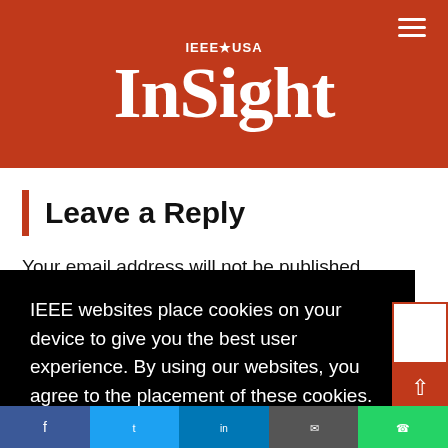IEEE USA InSight
Leave a Reply
Your email address will not be published.
IEEE websites place cookies on your device to give you the best user experience. By using our websites, you agree to the placement of these cookies. To learn more, read our Privacy Policy.
Accept & Close